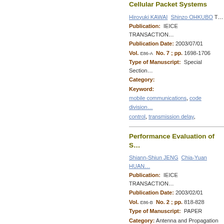Cellular Packet Systems
Hiroyuki KAWAI  Shinzo OHKUBO  T…
Publication:  IEICE TRANSACTION…
Publication Date: 2003/07/01
Vol. E86-A  No. 7 ; pp. 1698-1706
Type of Manuscript:  Special Section…
Category:
Keyword:
mobile communications, code division… control, transmission delay,
Performance Evaluation of S…
Shiann-Shiun JENG  Chia-Yuan HUAN…
Publication:  IEICE TRANSACTION…
Publication Date: 2003/02/01
Vol. E86-B  No. 2 ; pp. 818-828
Type of Manuscript:  PAPER
Category: Antenna and Propagation
Keyword:
smart antenna, W-CDMA, mobile com…
Combining Techniques for S…